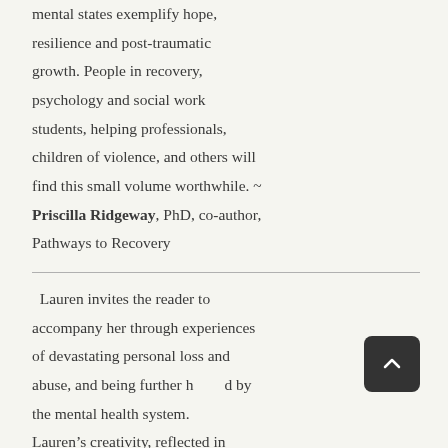mental states exemplify hope, resilience and post-traumatic growth. People in recovery, psychology and social work students, helping professionals, children of violence, and others will find this small volume worthwhile. ~ Priscilla Ridgeway, PhD, co-author, Pathways to Recovery
Lauren invites the reader to accompany her through experiences of devastating personal loss and abuse, and being further harmed by the mental health system. Laurenâs creativity, reflected in